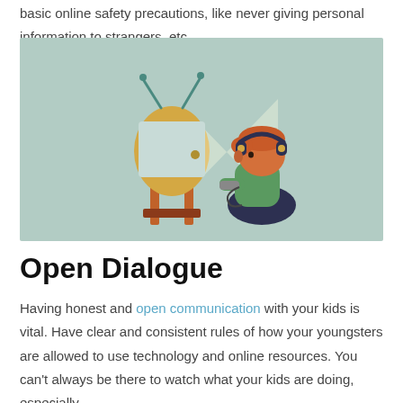basic online safety precautions, like never giving personal information to strangers, etc.
[Figure (illustration): Flat illustration of a child with red/orange hair wearing headphones and a green shirt, sitting cross-legged on the floor holding a game controller, in front of a retro-style television set with rabbit-ear antennas on a wooden stand. The TV projects a triangular light beam. Background is a muted sage green.]
Open Dialogue
Having honest and open communication with your kids is vital. Have clear and consistent rules of how your youngsters are allowed to use technology and online resources. You can't always be there to watch what your kids are doing, especially